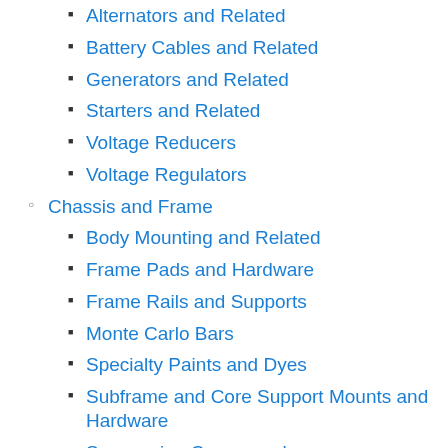Alternators and Related
Battery Cables and Related
Generators and Related
Starters and Related
Voltage Reducers
Voltage Regulators
Chassis and Frame
Body Mounting and Related
Frame Pads and Hardware
Frame Rails and Supports
Monte Carlo Bars
Specialty Paints and Dyes
Subframe and Core Support Mounts and Hardware
Suspension Crossmembers
Traction and Ladder Bars
Chassis Hardware
Polyurethane Radiator Support and Subframe Bushings